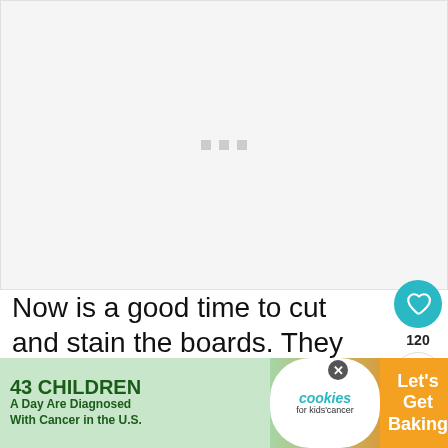[Figure (photo): Loading image placeholder with gray background and three small gray squares in the center]
Now is a good time to cut and stain the boards. They can dry while you are leveling the garden bed.
P... after 20... s.
[Figure (screenshot): Advertisement banner: 43 CHILDREN A Day Are Diagnosed With Cancer in the U.S. — cookies for kids' cancer — Let's Get Baking]